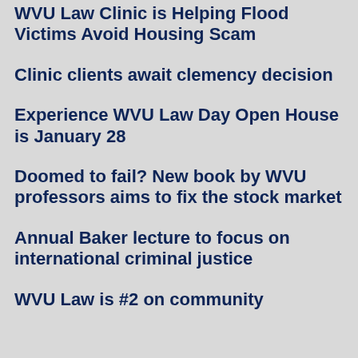WVU Law Clinic is Helping Flood Victims Avoid Housing Scam
Clinic clients await clemency decision
Experience WVU Law Day Open House is January 28
Doomed to fail? New book by WVU professors aims to fix the stock market
Annual Baker lecture to focus on international criminal justice
WVU Law is #2 on community